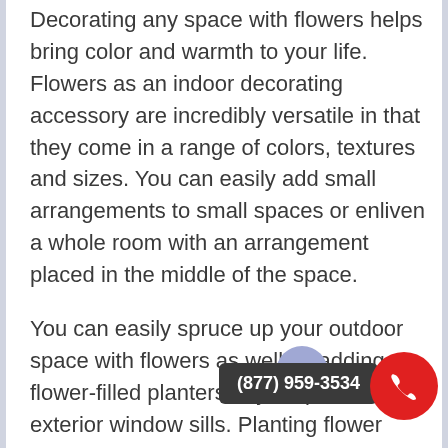Decorating any space with flowers helps bring color and warmth to your life. Flowers as an indoor decorating accessory are incredibly versatile in that they come in a range of colors, textures and sizes. You can easily add small arrangements to small spaces or enliven a whole room with an arrangement placed in the middle of the space.
You can easily spruce up your outdoor space with flowers as well by adding flower-filled planters to your porch or to exterior window sills. Planting flower gardens in your lawn is another great way to add personality and color to your home and create an inviting exterior.
The best part about decorating your space